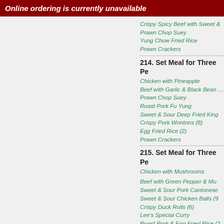Online ordering is currently unavailable
Crispy Spicy Beef with Sweet &
Prawn Chop Suey
Yung Chow Fried Rice
Prawn Crackers
214. Set Meal for Three Pe...
Chicken with Pineapple
Beef with Garlic & Black Bean ...
Prawn Chop Suey
Roast Pork Fu Yung
Sweet & Sour Deep Fried King
Crispy Pork Wontons (8)
Egg Fried Rice (2)
Prawn Crackers
215. Set Meal for Three Pe...
Chicken with Mushrooms
Beef with Green Pepper & Mu...
Sweet & Sour Pork Cantonese
Sweet & Sour Chicken Balls (9...
Crispy Duck Rolls (6)
Lee's Special Curry
Roast Pork & Egg Fried Rice (2...
Prawn Crackers